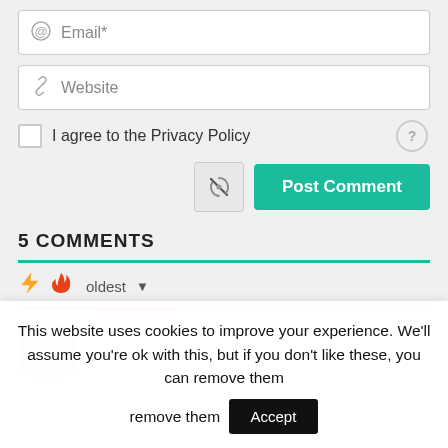[Figure (screenshot): Email input field with @ icon and placeholder text 'Email*']
[Figure (screenshot): Website input field with link icon and placeholder text 'Website']
I agree to the Privacy Policy
[Figure (screenshot): Mute/notification button and green 'Post Comment' button]
5 COMMENTS
[Figure (screenshot): Sort icons (bolt, fire) with 'oldest' dropdown and colored progress bar]
[Figure (screenshot): User avatar circle]
This website uses cookies to improve your experience. We'll assume you're ok with this, but if you don't like these, you can remove them
Accept